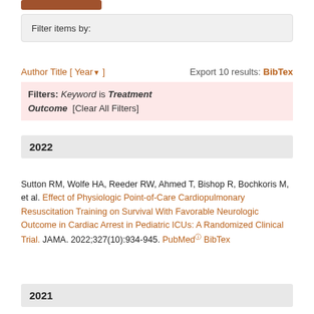Filter items by:
Author Title [ Year▼ ]   Export 10 results: BibTex
Filters: Keyword is Treatment Outcome  [Clear All Filters]
2022
Sutton RM, Wolfe HA, Reeder RW, Ahmed T, Bishop R, Bochkoris M, et al. Effect of Physiologic Point-of-Care Cardiopulmonary Resuscitation Training on Survival With Favorable Neurologic Outcome in Cardiac Arrest in Pediatric ICUs: A Randomized Clinical Trial. JAMA. 2022;327(10):934-945. PubMed BibTex
2021